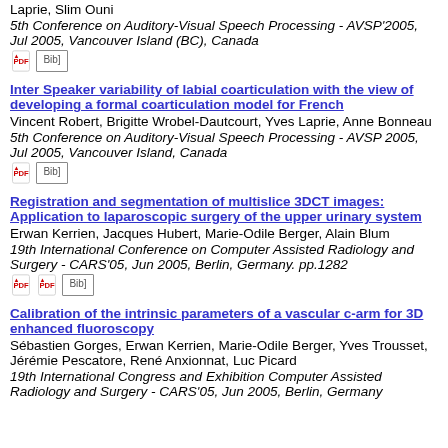Laprie, Slim Ouni
5th Conference on Auditory-Visual Speech Processing - AVSP'2005, Jul 2005, Vancouver Island (BC), Canada
Inter Speaker variability of labial coarticulation with the view of developing a formal coarticulation model for French
Vincent Robert, Brigitte Wrobel-Dautcourt, Yves Laprie, Anne Bonneau
5th Conference on Auditory-Visual Speech Processing - AVSP 2005, Jul 2005, Vancouver Island, Canada
Registration and segmentation of multislice 3DCT images: Application to laparoscopic surgery of the upper urinary system
Erwan Kerrien, Jacques Hubert, Marie-Odile Berger, Alain Blum
19th International Conference on Computer Assisted Radiology and Surgery - CARS'05, Jun 2005, Berlin, Germany. pp.1282
Calibration of the intrinsic parameters of a vascular c-arm for 3D enhanced fluoroscopy
Sébastien Gorges, Erwan Kerrien, Marie-Odile Berger, Yves Trousset, Jérémie Pescatore, René Anxionnat, Luc Picard
19th International Congress and Exhibition Computer Assisted Radiology and Surgery - CARS'05, Jun 2005, Berlin, Germany